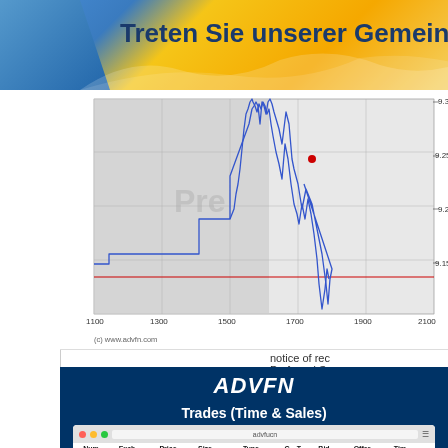[Figure (screenshot): Banner with blue and gold gradient background and text 'Treten Sie unserer Gemeinschaft bei']
[Figure (continuous-plot): Stock price chart showing intraday price movement, x-axis labels: 1100, 1300, 1500, 1700, 1900, 2100, y-axis: 9.15 to 9.3, blue line chart with red horizontal line around 9.15, grey 'Pre' watermark, copyright (c) www.advfn.com]
notice of rec Preferred S
[Figure (screenshot): ADVFN Trades (Time & Sales) panel showing dark blue background with ADVFN logo, green underline, title 'Trades (Time & Sales)', and a Mac-style table screenshot showing trade data with columns Num, Exch., Price, Size, Type, C, T, Bid, Offer, Tim and rows of trade data for NYSE at price ~70.07]
| Num | Exch. | Price | Size | Type | C | T | Bid | Offer | Tim |
| --- | --- | --- | --- | --- | --- | --- | --- | --- | --- |
| 13675 | nyse | 70.0658 | 6 | basket idx |  |  | 70.06 | 70.07 | 15:43:5 |
| 13674 | nyse | 70.07 | 100 |  |  |  | 70.07 | 70.07 | 15:43:5 |
| 13673 | nyse | 70.07 | 100 |  |  |  | 70.07 | 70.07 | 15:43:5 |
| 13672 | nyse | 70.07 | 100 |  |  |  | 70.07 | 70.07 | 15:43: |